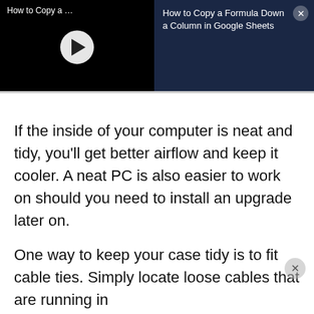[Figure (screenshot): Video player thumbnail on the left (black background with white play button) labeled 'How to Copy a ...' and info panel on the right (dark navy background) with title 'How to Copy a Formula Down a Column in Google Sheets' and a close X button]
If the inside of your computer is neat and tidy, you'll get better airflow and keep it cooler. A neat PC is also easier to work on should you need to install an upgrade later on.
One way to keep your case tidy is to fit cable ties. Simply locate loose cables that are running in